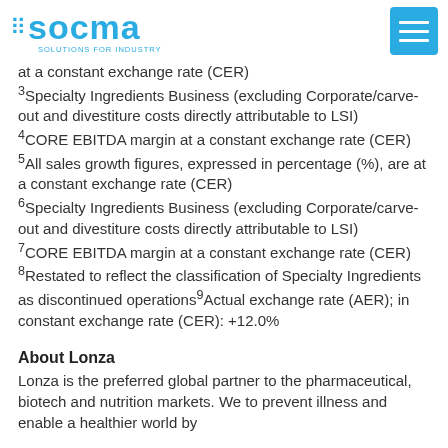socma — solutions for industry
at a constant exchange rate (CER)
3Specialty Ingredients Business (excluding Corporate/carve-out and divestiture costs directly attributable to LSI)
4CORE EBITDA margin at a constant exchange rate (CER)
5All sales growth figures, expressed in percentage (%), are at a constant exchange rate (CER)
6Specialty Ingredients Business (excluding Corporate/carve-out and divestiture costs directly attributable to LSI)
7CORE EBITDA margin at a constant exchange rate (CER)
8Restated to reflect the classification of Specialty Ingredients as discontinued operations9Actual exchange rate (AER); in constant exchange rate (CER): +12.0%
About Lonza
Lonza is the preferred global partner to the pharmaceutical, biotech and nutrition markets. We to prevent illness and enable a healthier world by